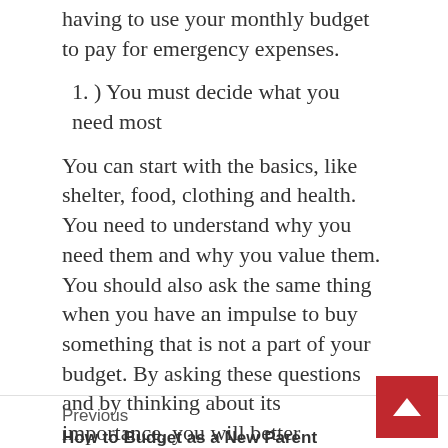having to use your monthly budget to pay for emergency expenses.
1. ) You must decide what you need most
You can start with the basics, like shelter, food, clothing and health. You need to understand why you need them and why you value them. You should also ask the same thing when you have an impulse to buy something that is not a part of your budget. By asking these questions and by thinking about its importance, you will better understand the value of money and you can improve your decision-making skills when it comes to your finances.
Previous
How to Budget as a New Parent